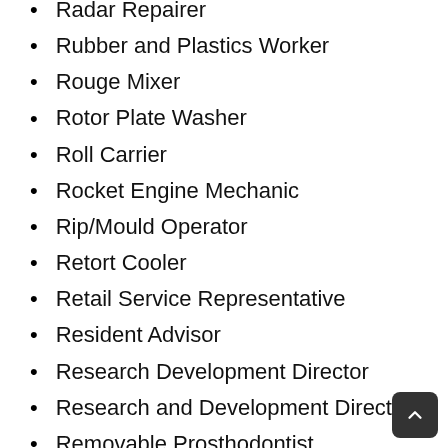Radar Repairer
Rubber and Plastics Worker
Rouge Mixer
Rotor Plate Washer
Roll Carrier
Rocket Engine Mechanic
Rip/Mould Operator
Retort Cooler
Retail Service Representative
Resident Advisor
Research Development Director
Research and Development Director
Removable Prosthodontist
Reinforcer
Regulatory Affairs Specialists